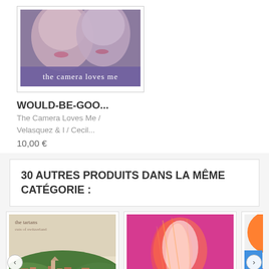[Figure (photo): Album cover image showing two faces close together with text 'the camera loves me' on a purple band at bottom]
WOULD-BE-GOO...
The Camera Loves Me / Velasquez & I / Cecil...
10,00 €
30 AUTRES PRODUITS DANS LA MÊME CATÉGORIE :
[Figure (photo): Album cover for 'the tartans - cuts of switzerland' showing a vintage postcard-style landscape of a town with green hills]
[Figure (photo): Album cover showing an abstract red and pink blurred figure against colorful background]
[Figure (photo): Partially visible album cover with orange and purple colors]